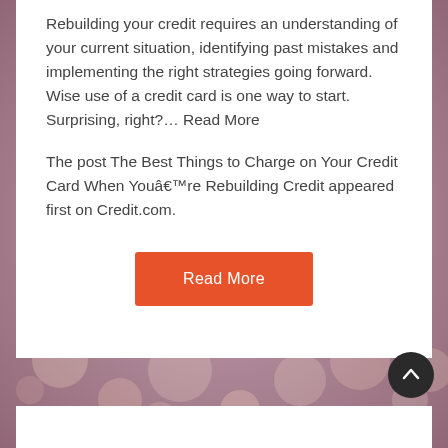Rebuilding your credit requires an understanding of your current situation, identifying past mistakes and implementing the right strategies going forward. Wise use of a credit card is one way to start. Surprising, right?… Read More
The post The Best Things to Charge on Your Credit Card When Youâre Rebuilding Credit appeared first on Credit.com.
[Figure (other): Orange 'Read More' button]
[Figure (photo): Bokeh background with warm pink/mauve tones and blurred circular lights]
[Figure (other): Dark circular back-to-top arrow button in bottom right]